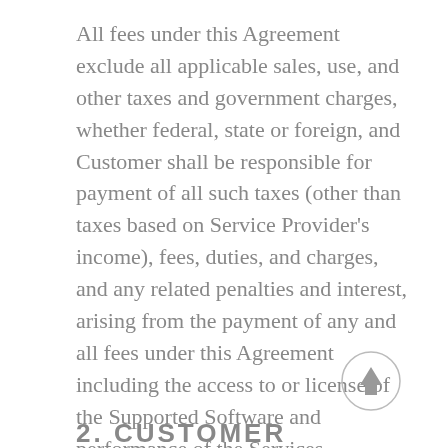All fees under this Agreement exclude all applicable sales, use, and other taxes and government charges, whether federal, state or foreign, and Customer shall be responsible for payment of all such taxes (other than taxes based on Service Provider's income), fees, duties, and charges, and any related penalties and interest, arising from the payment of any and all fees under this Agreement including the access to or license of the Supported Software and performance of the Services hereunder.
[Figure (other): A circular scroll-to-top button with an upward arrow icon, light gray outline circle with dark gray arrow]
2. CUSTOMER